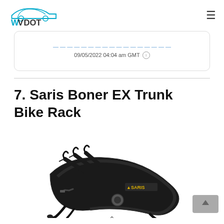WVDOT
09/05/2022 04:04 am GMT
7. Saris Boner EX Trunk Bike Rack
[Figure (photo): Saris Bones EX trunk bike rack, black, shown from the side with multiple bike cradle arms visible, SARIS logo on the body]